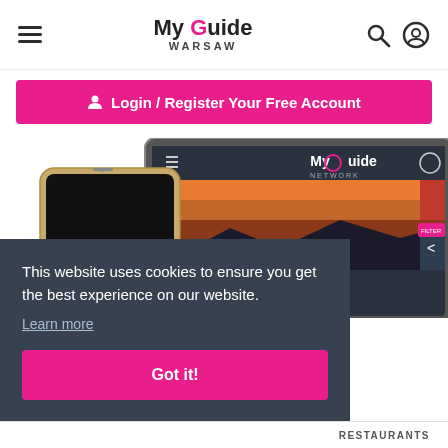My Guide WARSAW — navigation bar with hamburger menu, logo, search and account icons
Login / Register Your Free Account
[Figure (screenshot): Screenshot of MyGuide Network app shown on a tablet and smartphone, displaying the app interface with a sunset landscape background and content tiles.]
This website uses cookies to ensure you get the best experience on our website.
Learn more
Got it!
RESTAURANTS